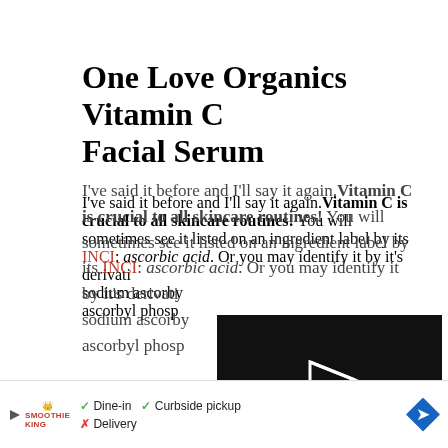One Love Organics Vitamin C Facial Serum
I've said it before and I'll say it again. Vitamin C is crucial to all skincare routines! You will sometimes see it listed on an ingredient label by its INCI: ascorbic acid. Or you may identify it by it's derivatives, such as sodium ascorbyl phosphate or ascorbyl phosphate
[Figure (screenshot): Black video player overlay showing error message: 'This video file cannot be played. (Error Code: 224003)']
[Figure (screenshot): Advertisement bar at bottom: Smoothie King restaurant ad showing Dine-in, Curbside pickup, Delivery options with navigation arrow]